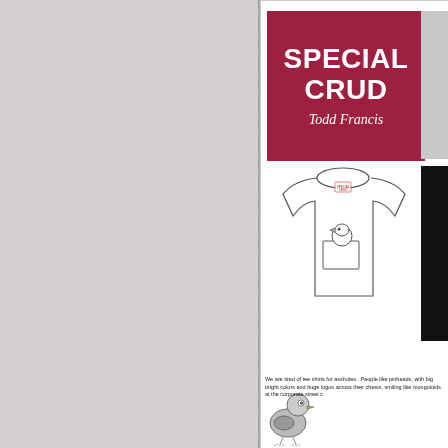[Figure (illustration): Left half of the spread showing a gray background (blank left page of an open book spread)]
[Figure (illustration): Right page of spread: crimson/dark-red square logo block reading SPECIAL CRUD / Todd Francis, a white t-shirt sketch with a small neck tag and a pocket with a pigeon head peeking out, a gray t-shirt partial image on the right edge, a black panel on the right edge lower half, a small pigeon illustration at bottom left, and text block beginning 'We are tired of tee shirts for assholes...']
SPECIAL CRUD
Todd Francis
We are tired of tee shirts for assholes.  People like pinheads, with big bright colors and huge logos across their chests, smiling like mongoloids at the corporate street c